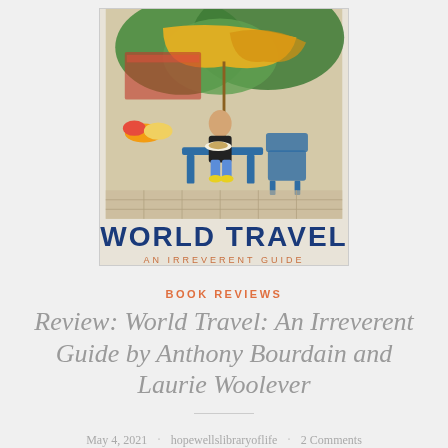[Figure (illustration): Book cover of 'World Travel: An Irreverent Guide' showing a colorful illustrated scene of a person sitting at a blue table eating at an outdoor market with a large yellow umbrella, surrounded by vegetables and vibrant market stalls. The title 'WORLD TRAVEL' appears in large dark blue letters below the illustration, with 'AN IRREVERENT GUIDE' in smaller orange spaced letters beneath it.]
BOOK REVIEWS
Review: World Travel: An Irreverent Guide by Anthony Bourdain and Laurie Woolever
May 4, 2021 · hopewellslibraryoflife · 2 Comments